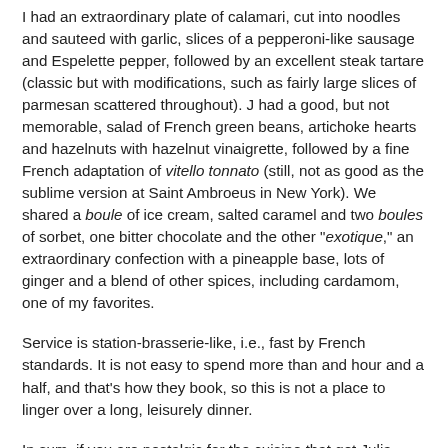I had an extraordinary plate of calamari, cut into noodles and sauteed with garlic, slices of a pepperoni-like sausage and Espelette pepper, followed by an excellent steak tartare (classic but with modifications, such as fairly large slices of parmesan scattered throughout). J had a good, but not memorable, salad of French green beans, artichoke hearts and hazelnuts with hazelnut vinaigrette, followed by a fine French adaptation of vitello tonnato (still, not as good as the sublime version at Saint Ambroeus in New York). We shared a boule of ice cream, salted caramel and two boules of sorbet, one bitter chocolate and the other "exotique," an extraordinary confection with a pineapple base, lots of ginger and a blend of other spices, including cardamom, one of my favorites.
Service is station-brasserie-like, i.e., fast by French standards. It is not easy to spend more than and hour and a half, and that's how they book, so this is not a place to linger over a long, leisurely dinner.
In sum, if you are nostalgic for the cuisine that got Julia cooking, or just want a good French meal, head for the